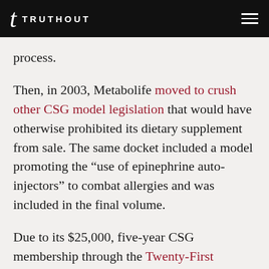TRUTHOUT
process.
Then, in 2003, Metabolife moved to crush other CSG model legislation that would have otherwise prohibited its dietary supplement from sale. The same docket included a model promoting the “use of epinephrine auto-injectors” to combat allergies and was included in the final volume.
Due to its $25,000, five-year CSG membership through the Twenty-First Century Foundation,